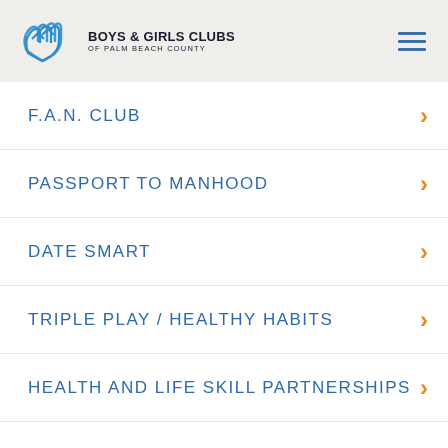BOYS & GIRLS CLUBS OF PALM BEACH COUNTY
F.A.N. CLUB
PASSPORT TO MANHOOD
DATE SMART
TRIPLE PLAY / HEALTHY HABITS
HEALTH AND LIFE SKILL PARTNERSHIPS